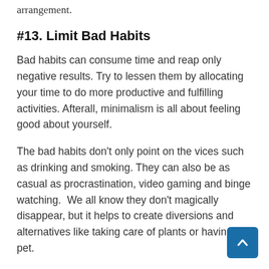arrangement.
#13. Limit Bad Habits
Bad habits can consume time and reap only negative results. Try to lessen them by allocating your time to do more productive and fulfilling activities. Afterall, minimalism is all about feeling good about yourself.
The bad habits don’t only point on the vices such as drinking and smoking. They can also be as casual as procrastination, video gaming and binge watching.  We all know they don’t magically disappear, but it helps to create diversions and alternatives like taking care of plants or having a pet.
#14. Re...